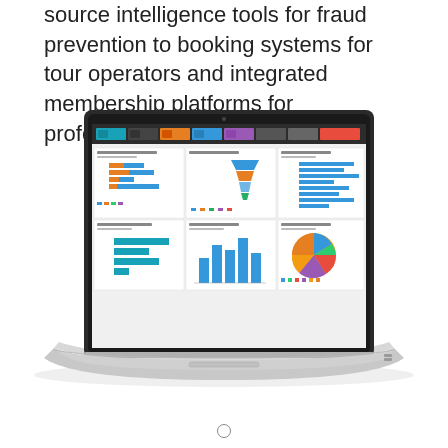source intelligence tools for fraud prevention to booking systems for tour operators and integrated membership platforms for professional associations
[Figure (screenshot): A laptop (MacBook-style) displaying a business analytics dashboard with multiple charts including bar charts, a funnel chart, a pie chart, and other data visualizations on a dark-tabbed interface.]